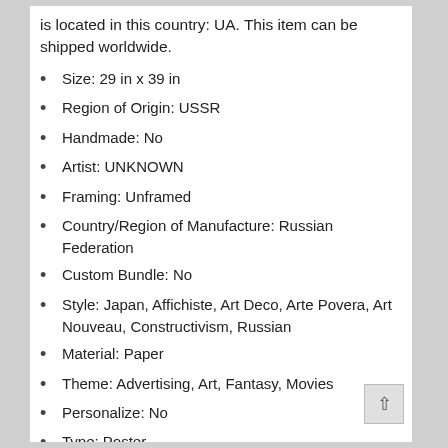is located in this country: UA. This item can be shipped worldwide.
Size: 29 in x 39 in
Region of Origin: USSR
Handmade: No
Artist: UNKNOWN
Framing: Unframed
Country/Region of Manufacture: Russian Federation
Custom Bundle: No
Style: Japan, Affichiste, Art Deco, Arte Povera, Art Nouveau, Constructivism, Russian
Material: Paper
Theme: Advertising, Art, Fantasy, Movies
Personalize: No
Type: Poster
Title: CIRCUS PARADE
Features: Unframed, 1st Edition, Limited Edition
Subject: Film, Drama, Advertising, Movies, Adventure Time, Children & Infants, Circus